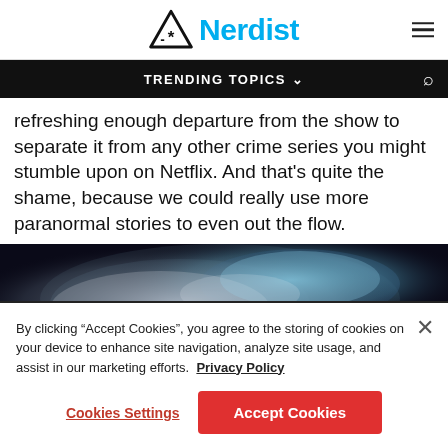Nerdist
TRENDING TOPICS
refreshing enough departure from the show to separate it from any other crime series you might stumble upon on Netflix. And that's quite the shame, because we could really use more paranormal stories to even out the flow.
[Figure (photo): Dark atmospheric photo with smoke clouds and blue/teal light]
By clicking "Accept Cookies", you agree to the storing of cookies on your device to enhance site navigation, analyze site usage, and assist in our marketing efforts. Privacy Policy
Cookies Settings | Accept Cookies